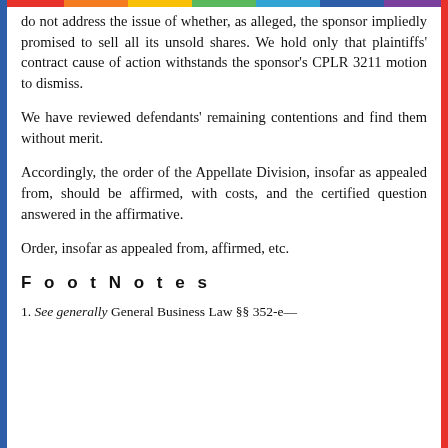do not address the issue of whether, as alleged, the sponsor impliedly promised to sell all its unsold shares. We hold only that plaintiffs' contract cause of action withstands the sponsor's CPLR 3211 motion to dismiss.
We have reviewed defendants' remaining contentions and find them without merit.
Accordingly, the order of the Appellate Division, insofar as appealed from, should be affirmed, with costs, and the certified question answered in the affirmative.
Order, insofar as appealed from, affirmed, etc.
FootNotes
1. See generally General Business Law §§ 352-e—